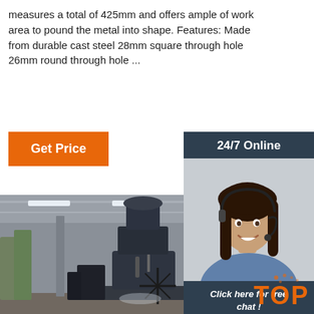measures a total of 425mm and offers ample of work area to pound the metal into shape. Features: Made from durable cast steel 28mm square through hole 26mm round through hole ...
[Figure (other): Orange 'Get Price' button]
[Figure (other): 24/7 Online sidebar with customer service representative photo, 'Click here for free chat!' text, and orange QUOTATION button]
[Figure (photo): Industrial machinery (large power hammer or press) in a factory/workshop setting with concrete floor and steel roof structure]
[Figure (logo): TOP logo in orange with decorative dots, bottom right corner]